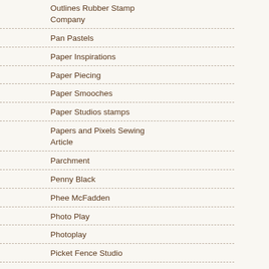Outlines Rubber Stamp Company
Pan Pastels
Paper Inspirations
Paper Piecing
Paper Smooches
Paper Studios stamps
Papers and Pixels Sewing Article
Parchment
Penny Black
Phee McFadden
Photo Play
Photoplay
Picket Fence Studio
Pinque Peacock
Polka Dot Orchard Stamps
Poppers
Power Poppy
PPinkydollsart